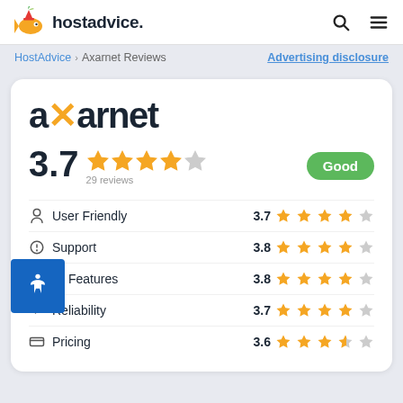[Figure (logo): HostAdvice logo with goldfish mascot and bold text 'hostadvice.']
HostAdvice > Axarnet Reviews   Advertising disclosure
axarnet
3.7 ★★★★☆ 29 reviews   Good
User Friendly 3.7 ★★★★☆
Support 3.8 ★★★★☆
Features 3.8 ★★★★☆
Reliability 3.7 ★★★★☆
Pricing 3.6 ★★★☆☆